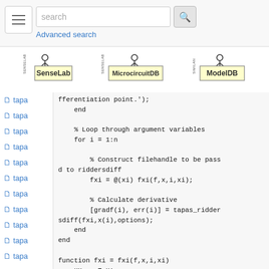[Figure (screenshot): Navigation bar with hamburger menu, search input field and search button, and Advanced search link below]
[Figure (logo): Three logos: SenseLab, MicrocircuitDB, ModelDB with SENSELAB branding]
tapa
tapa
tapa
tapa
tapa
tapa
tapa
tapa
tapa
tapa
tapa
tapa
tapa
[Figure (screenshot): Code block showing MATLAB/Octave code: fferentiation point.'); end, Loop through argument variables, for i=1:n, Construct filehandle to be passed to riddersdiff, fxi = @(xi) fxi(f,x,i,xi);, Calculate derivative, [gradf(i), err(i)] = tapas_riddersdiff(fxi,x(i),options);, end, end, function fxi = fxi(f,x,i,xi), xx = x;, xx(i) = xi;]